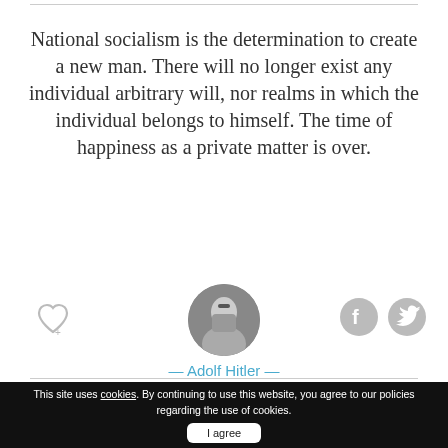National socialism is the determination to create a new man. There will no longer exist any individual arbitrary will, nor realms in which the individual belongs to himself. The time of happiness as a private matter is over.
[Figure (photo): Circular portrait photo of Adolf Hitler in black and white]
— Adolf Hitler —
Create, Exist, Arbitrary
This site uses cookies. By continuing to use this website, you agree to our policies regarding the use of cookies.